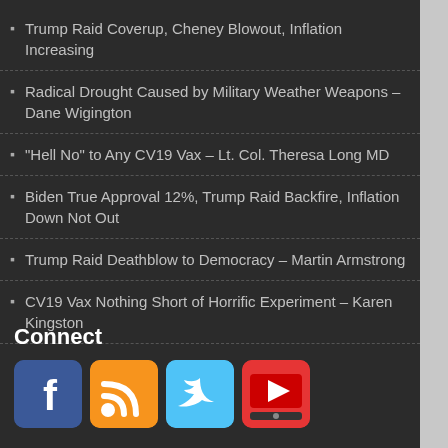Trump Raid Coverup, Cheney Blowout, Inflation Increasing
Radical Drought Caused by Military Weather Weapons – Dane Wigington
“Hell No” to Any CV19 Vax – Lt. Col. Theresa Long MD
Biden True Approval 12%, Trump Raid Backfire, Inflation Down Not Out
Trump Raid Deathblow to Democracy – Martin Armstrong
CV19 Vax Nothing Short of Horrific Experiment – Karen Kingston
Connect
[Figure (logo): Facebook icon - blue rounded square with white f logo]
[Figure (logo): RSS feed icon - orange rounded square with white RSS symbol]
[Figure (logo): Twitter icon - light blue rounded square with white bird logo]
[Figure (logo): YouTube/video icon - red rounded square with play button and TV/recorder graphic]